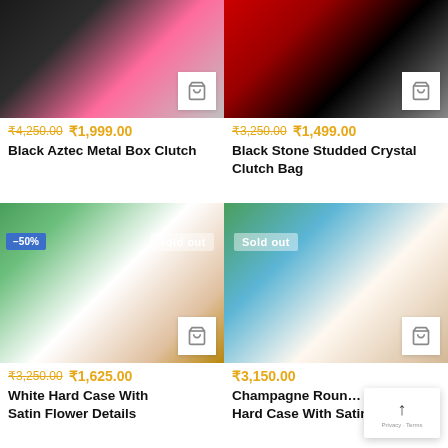[Figure (photo): Black Aztec Metal Box Clutch product image with cart icon]
[Figure (photo): Black Stone Studded Crystal Clutch Bag product image with cart icon]
₹4,250.00 ₹1,999.00
₹3,250.00 ₹1,499.00
Black Aztec Metal Box Clutch
Black Stone Studded Crystal Clutch Bag
[Figure (photo): White Hard Case With Satin Flower Details product image with -50% badge and Sold out badge]
[Figure (photo): Champagne Round Hard Case With Satin flower details product image with Sold out badge]
₹3,250.00 ₹1,625.00
₹3,150.00
White Hard Case With Satin Flower Details
Champagne Round Hard Case With Satin